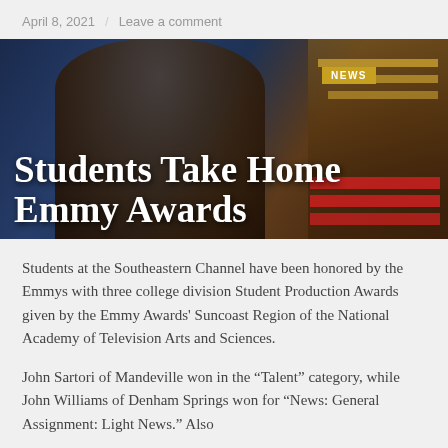April 8, 2021  /  Leave a comment
[Figure (photo): A man in a dark suit and tie holding a trophy at a news broadcast set with a 'News' sign visible in background. Overlaid title text reads: Students Take Home Emmy Awards]
Students Take Home Emmy Awards
Students at the Southeastern Channel have been honored by the Emmys with three college division Student Production Awards given by the Emmy Awards' Suncoast Region of the National Academy of Television Arts and Sciences.
John Sartori of Mandeville won in the “Talent” category, while John Williams of Denham Springs won for “News: General Assignment: Light News.” Also